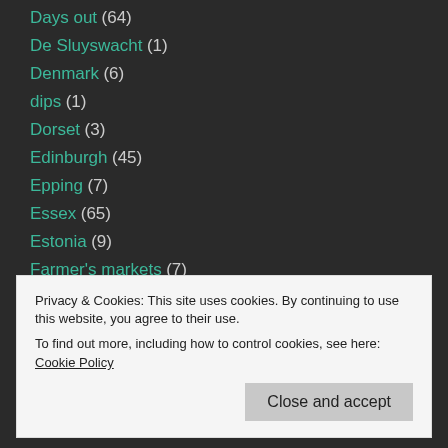Days out (64)
De Sluyswacht (1)
Denmark (6)
dips (1)
Dorset (3)
Edinburgh (45)
Epping (7)
Essex (65)
Estonia (9)
Farmer's markets (7)
Film (14)
Folklore and legend (12)
Food products (18)
Privacy & Cookies: This site uses cookies. By continuing to use this website, you agree to their use.
To find out more, including how to control cookies, see here: Cookie Policy
Close and accept